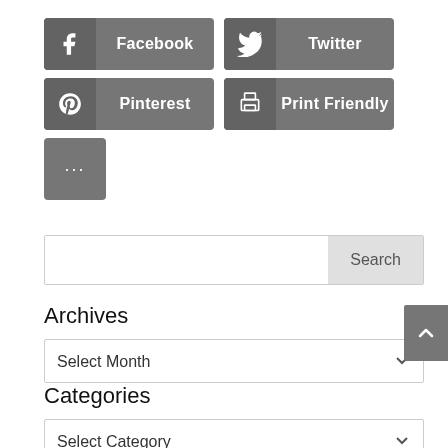[Figure (screenshot): Social sharing buttons: Facebook, Twitter, Pinterest, Print Friendly, and a More (...) button]
[Figure (screenshot): Search bar with text input and Search button]
Archives
[Figure (screenshot): Dropdown selector showing 'Select Month' with chevron]
Categories
[Figure (screenshot): Dropdown selector showing 'Select Category' with chevron]